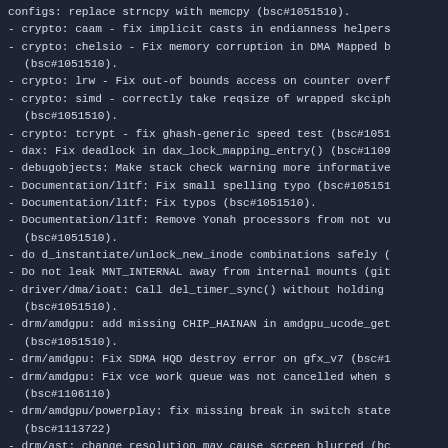configs: replace strncpy with memcpy (bsc#1051510).
crypto: caam - fix implicit casts in endianness helpers
crypto: chelsio - Fix memory corruption in DMA Mapped b (bsc#1051510).
crypto: lrw - Fix out-of bounds access on counter overf
crypto: simd - correctly take reqsize of wrapped skciph (bsc#1051510).
crypto: tcrypt - fix ghash-generic speed test (bsc#1051
dax: Fix deadlock in dax_lock_mapping_entry() (bsc#1109
debugobjects: Make stack check warning more informative
Documentation/l1tf: Fix small spelling typo (bsc#105151
Documentation/l1tf: Fix typos (bsc#1051510).
Documentation/l1tf: Remove Yonah processors from not vu (bsc#1051510).
do d_instantiate/unlock_new_inode combinations safely (
Do not leak MNT_INTERNAL away from internal mounts (git
driver/dma/ioat: Call del_timer_sync() without holding (bsc#1051510).
drm/amdgpu: add missing CHIP_HAINAN in amdgpu_ucode_get (bsc#1051510).
drm/amdgpu: Fix SDMA HQD destroy error on gfx_v7 (bsc#1
drm/amdgpu: Fix vce work queue was not cancelled when s (bsc#1106110)
drm/amdgpu/powerplay: fix missing break in switch state (bsc#1113722)
drm/ast: change resolution may cause screen blurred (bc
drm/ast: fixed cursor may disappear sometimes (bsc#1051
drm/ast: Fix incorrect free on ioregs (bsc#1051510).
drm/ast: Remove existing framebuffers before loading dr
drm/dp_mst: Check if primary mstb is null (bsc#1051510)
drm/dp_mst: Skip validating ports during destruction, j (bsc#1051510).
drm/edid: Add 6 bpc quirk for BOE panel (bsc#1051510)